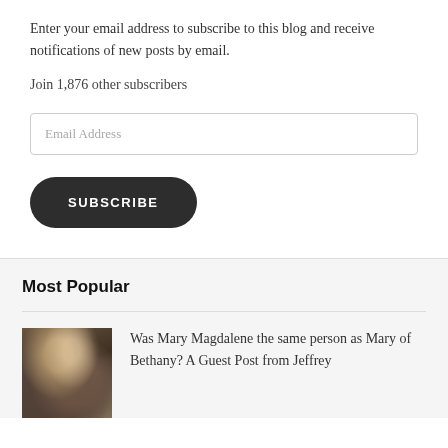Enter your email address to subscribe to this blog and receive notifications of new posts by email.
Join 1,876 other subscribers
[Figure (other): Email Address input field]
[Figure (other): SUBSCRIBE button]
Most Popular
[Figure (photo): Thumbnail painting image depicting Mary Magdalene scene]
Was Mary Magdalene the same person as Mary of Bethany? A Guest Post from Jeffrey